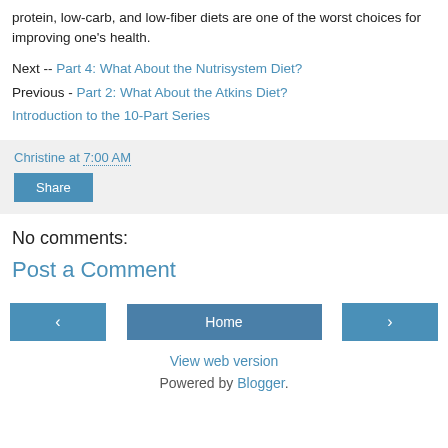protein, low-carb, and low-fiber diets are one of the worst choices for improving one's health.
Next -- Part 4: What About the Nutrisystem Diet?
Previous - Part 2: What About the Atkins Diet?
Introduction to the 10-Part Series
Christine at 7:00 AM
Share
No comments:
Post a Comment
< Home > View web version Powered by Blogger.